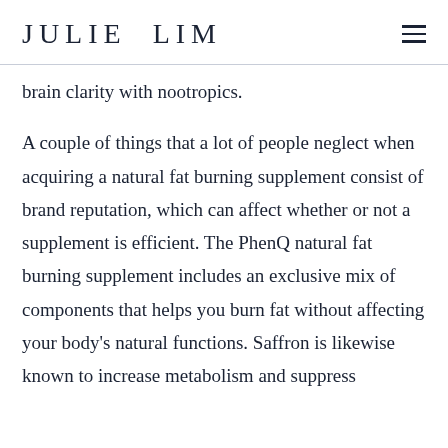JULIE LIM
brain clarity with nootropics.
A couple of things that a lot of people neglect when acquiring a natural fat burning supplement consist of brand reputation, which can affect whether or not a supplement is efficient. The PhenQ natural fat burning supplement includes an exclusive mix of components that helps you burn fat without affecting your body's natural functions. Saffron is likewise known to increase metabolism and suppress